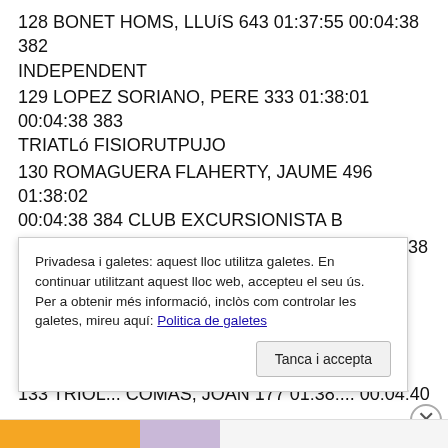128 BONET HOMS, LLUíS 643 01:37:55 00:04:38 382 INDEPENDENT
129 LOPEZ SORIANO, PERE 333 01:38:01 00:04:38 383 TRIATLó FISIORUTPUJO
130 ROMAGUERA FLAHERTY, JAUME 496 01:38:02 00:04:38 384 CLUB EXCURSIONISTA B
131 FONT BASSAS, JORDI 424 01:38:03 00:04:38 385 INDEPENDENT
132 BUNDO I GELADA, JOSEP 64 01:38:22 00:04:39 386 ATLETISME ANGLES
133 TRIOL... COMAS, JOAN 177 01:38:... 00:04:40 387
Privadesa i galetes: aquest lloc utilitza galetes. En continuar utilitzant aquest lloc web, accepteu el seu ús.
Per a obtenir més informació, inclòs com controlar les galetes, mireu aquí: Politica de galetes
Tanca i accepta